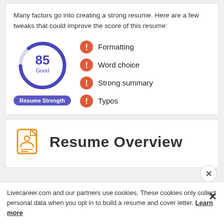Many factors go into creating a strong resume. Here are a few tweaks that could improve the score of this resume:
[Figure (infographic): Donut gauge showing score 85 Good with Resume Strength label, and four warning items: Formatting, Word choice, Strong summary, Typos]
[Figure (infographic): Resume Overview section header with orange document icon]
Livecareer.com and our partners use cookies. These cookies only collect personal data when you opt in to build a resume and cover letter. Learn more